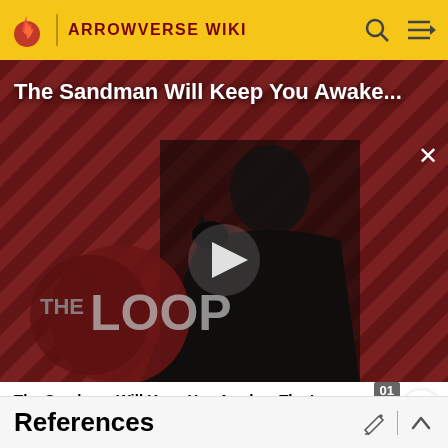ARROWVERSE WIKI
[Figure (screenshot): Video thumbnail for 'The Sandman Will Keep You Awake - The Loop' showing a figure in black robes against red and black diagonal striped background, with The Loop logo overlay and a play button in the center]
The Sandman Will Keep You Awake - The Loop
filters.
References